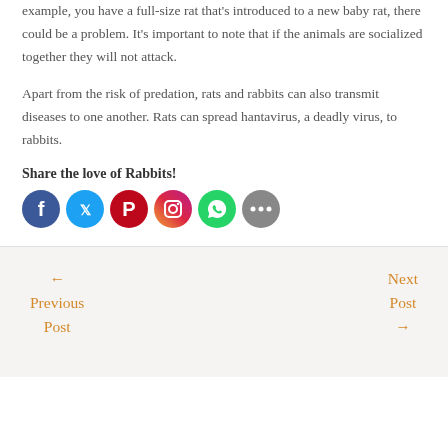example, you have a full-size rat that's introduced to a new baby rat, there could be a problem. It's important to note that if the animals are socialized together they will not attack.
Apart from the risk of predation, rats and rabbits can also transmit diseases to one another. Rats can spread hantavirus, a deadly virus, to rabbits.
Share the love of Rabbits!
[Figure (other): Social media sharing icons: Facebook, Twitter, Pinterest, Instagram, WhatsApp, More]
← Previous Post
Next Post →